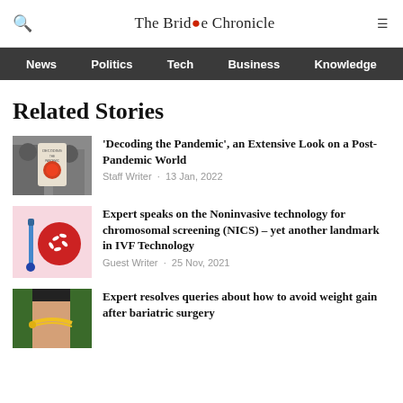The Bridge Chronicle
News · Politics · Tech · Business · Knowledge
Related Stories
'Decoding the Pandemic', an Extensive Look on a Post-Pandemic World
Staff Writer · 13 Jan, 2022
Expert speaks on the Noninvasive technology for chromosomal screening (NICS) – yet another landmark in IVF Technology
Guest Writer · 25 Nov, 2021
Expert resolves queries about how to avoid weight gain after bariatric surgery